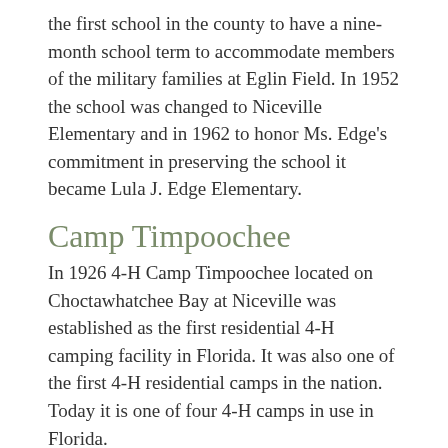the first school in the county to have a nine-month school term to accommodate members of the military families at Eglin Field. In 1952 the school was changed to Niceville Elementary and in 1962 to honor Ms. Edge's commitment in preserving the school it became Lula J. Edge Elementary.
Camp Timpoochee
In 1926 4-H Camp Timpoochee located on Choctawhatchee Bay at Niceville was established as the first residential 4-H camping facility in Florida. It was also one of the first 4-H residential camps in the nation. Today it is one of four 4-H camps in use in Florida.
Civilian Conservation Corps
The only Civilian Conservation Corps camp in Okaloosa County was at Niceville. Company F-